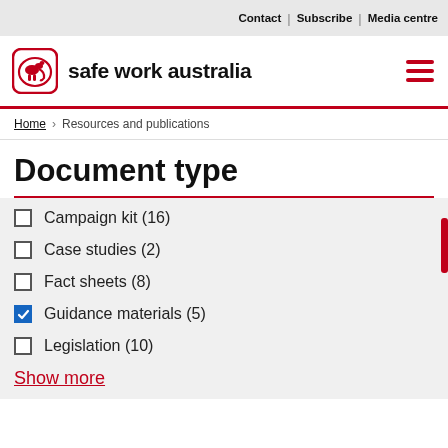Contact | Subscribe | Media centre
[Figure (logo): Safe Work Australia logo with kangaroo icon and bold text 'safe work australia']
Home > Resources and publications
Document type
Campaign kit (16)
Case studies (2)
Fact sheets (8)
Guidance materials (5)
Legislation (10)
Show more